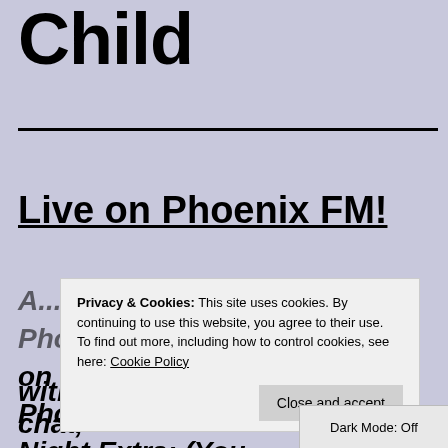Child
Live on Phoenix FM!
A... and had the brilliant and Phoenix FM... week. Sharing on his Phoenix FM show, Friday Night Extra: (You can find a recording of the show... with a brief summary of our chat,
Privacy & Cookies: This site uses cookies. By continuing to use this website, you agree to their use. To find out more, including how to control cookies, see here: Cookie Policy
Close and accept
Dark Mode: Off